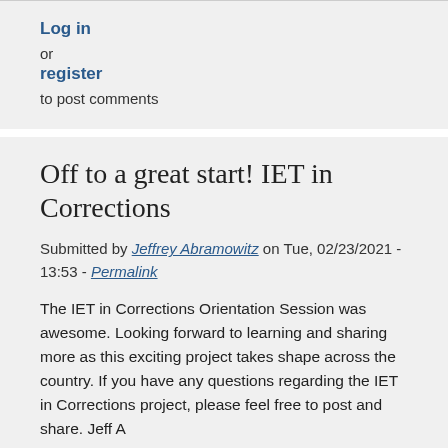Log in
or
register
to post comments
Off to a great start! IET in Corrections
Submitted by Jeffrey Abramowitz on Tue, 02/23/2021 - 13:53 - Permalink
The IET in Corrections Orientation Session was awesome. Looking forward to learning and sharing more as this exciting project takes shape across the country. If you have any questions regarding the IET in Corrections project, please feel free to post and share. Jeff A